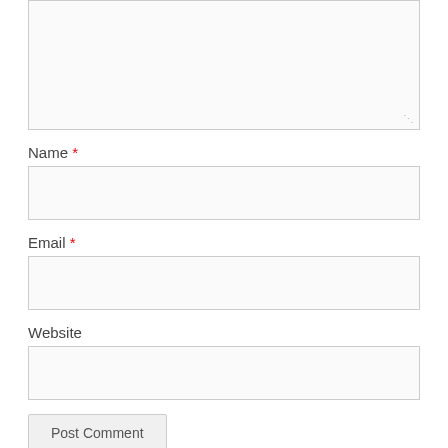[Figure (screenshot): Comment form textarea (top portion, mostly empty with resize handle at bottom right)]
Name *
[Figure (screenshot): Name input text field, empty]
Email *
[Figure (screenshot): Email input text field, empty]
Website
[Figure (screenshot): Website input text field, empty]
Post Comment
Notify me of new comments via email.